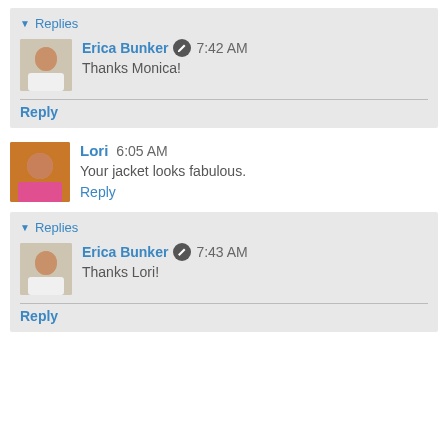▼ Replies
Erica Bunker 7:42 AM
Thanks Monica!
Reply
Lori 6:05 AM
Your jacket looks fabulous.
Reply
▼ Replies
Erica Bunker 7:43 AM
Thanks Lori!
Reply